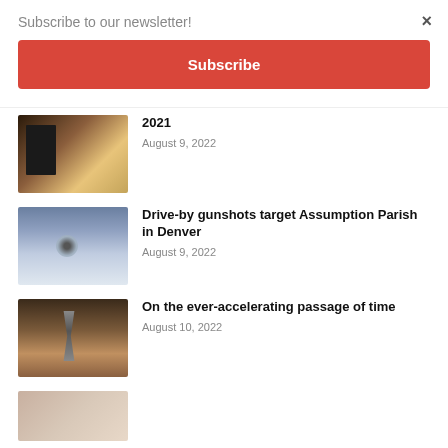Subscribe to our newsletter!
Subscribe
×
2021
August 9, 2022
[Figure (photo): Movie/book covers spread on a surface with a circular stamp badge]
Drive-by gunshots target Assumption Parish in Denver
August 9, 2022
[Figure (photo): Close-up of a bullet hole in a light blue wall/surface]
On the ever-accelerating passage of time
August 10, 2022
[Figure (photo): Hourglass standing in pebbles/gravel, dramatic sky background]
[Figure (photo): Partial image of what appears to be a person, cropped at bottom]